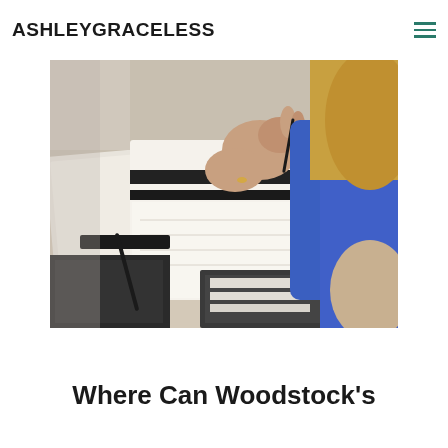ASHLEYGRACELESS
[Figure (photo): A woman with blonde hair wearing a blue top, writing in a spiral notebook on a desk. Multiple notebooks and a pen are visible on the table.]
Where Can Woodstock's